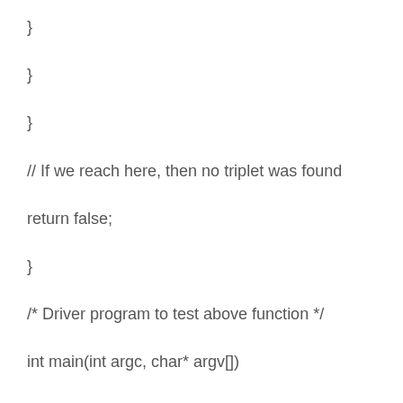}
}
}
// If we reach here, then no triplet was found
return false;
}
/* Driver program to test above function */
int main(int argc, char* argv[])
{